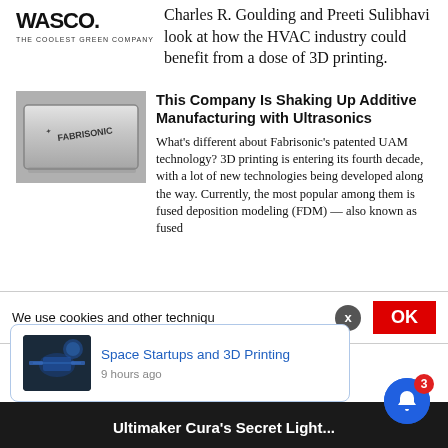[Figure (logo): Wasco 'The Coolest Green Company' logo]
Charles R. Goulding and Preeti Sulibhavi look at how the HVAC industry could benefit from a dose of 3D printing.
[Figure (photo): Fabrisonic metal 3D printed part — rectangular metallic block with Fabrisonic branding]
This Company Is Shaking Up Additive Manufacturing with Ultrasonics
What's different about Fabrisonic's patented UAM technology? 3D printing is entering its fourth decade, with a lot of new technologies being developed along the way. Currently, the most popular among them is fused deposition modeling (FDM) — also known as fused
We use cookies and other techniqu
Space Startups and 3D Printing
9 hours ago
Ultimaker Cura's Secret Light...